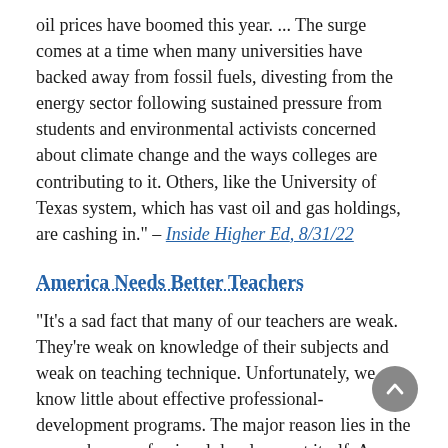oil prices have boomed this year. ... The surge comes at a time when many universities have backed away from fossil fuels, divesting from the energy sector following sustained pressure from students and environmental activists concerned about climate change and the ways colleges are contributing to it. Others, like the University of Texas system, which has vast oil and gas holdings, are cashing in." – Inside Higher Ed, 8/31/22
America Needs Better Teachers
"It's a sad fact that many of our teachers are weak. They're weak on knowledge of their subjects and weak on teaching technique. Unfortunately, we know little about effective professional-development programs. The major reason lies in the research on professional development itself. A major review, in 2008, of the research on professional development for teachers of